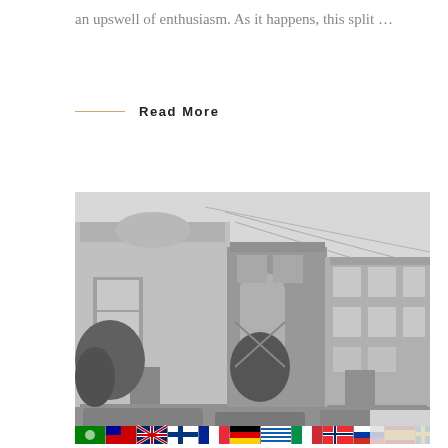an upswell of enthusiasm. As it happens, this split …
Read More
[Figure (photo): Black and white photograph of a row of Victorian and older urban residential buildings on a city street, with overhead wires visible, trees in front, and parked cars on the street. Multiple flags are displayed at the bottom of the image.]